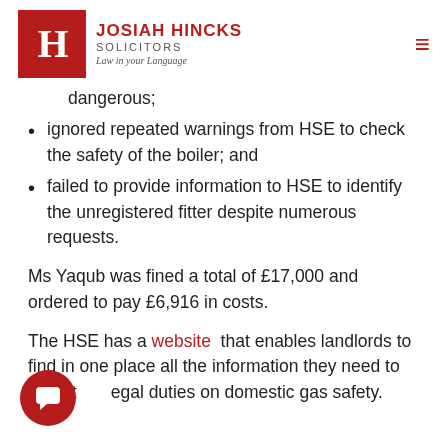JOSIAH HINCKS SOLICITORS — Law in your Language
dangerous;
ignored repeated warnings from HSE to check the safety of the boiler; and
failed to provide information to HSE to identify the unregistered fitter despite numerous requests.
Ms Yaqub was fined a total of £17,000 and ordered to pay £6,916 in costs.
The HSE has a website that enables landlords to find in one place all the information they need to meet their legal duties on domestic gas safety.